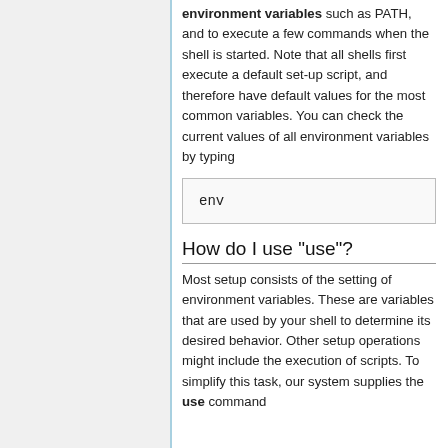environment variables such as PATH, and to execute a few commands when the shell is started. Note that all shells first execute a default set-up script, and therefore have default values for the most common variables. You can check the current values of all environment variables by typing
env
How do I use "use"?
Most setup consists of the setting of environment variables. These are variables that are used by your shell to determine its desired behavior. Other setup operations might include the execution of scripts. To simplify this task, our system supplies the use command